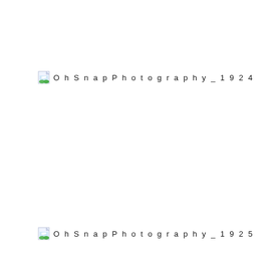[Figure (photo): Broken image placeholder icon followed by text label 'Oh Snap Photography_1924']
[Figure (photo): Broken image placeholder icon followed by text label 'Oh Snap Photography_1925']